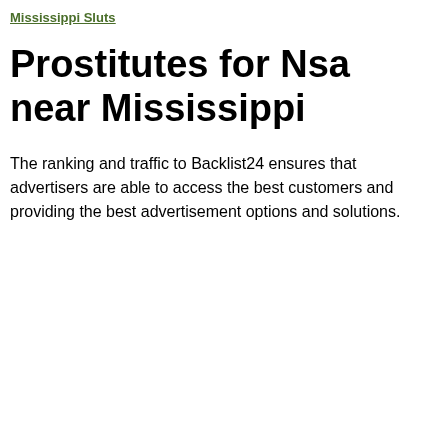Mississippi Sluts
Prostitutes for Nsa near Mississippi
The ranking and traffic to Backlist24 ensures that advertisers are able to access the best customers and providing the best advertisement options and solutions.